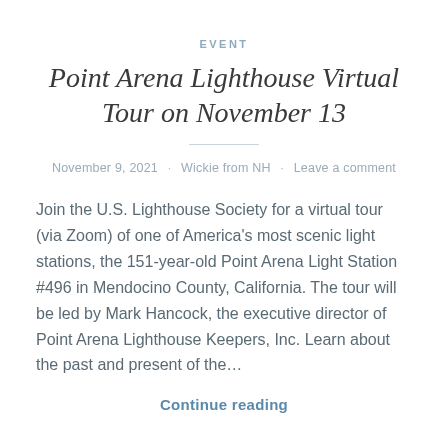EVENT
Point Arena Lighthouse Virtual Tour on November 13
November 9, 2021 · Wickie from NH · Leave a comment
Join the U.S. Lighthouse Society for a virtual tour (via Zoom) of one of America's most scenic light stations, the 151-year-old Point Arena Light Station #496 in Mendocino County, California. The tour will be led by Mark Hancock, the executive director of Point Arena Lighthouse Keepers, Inc. Learn about the past and present of the…
Continue reading